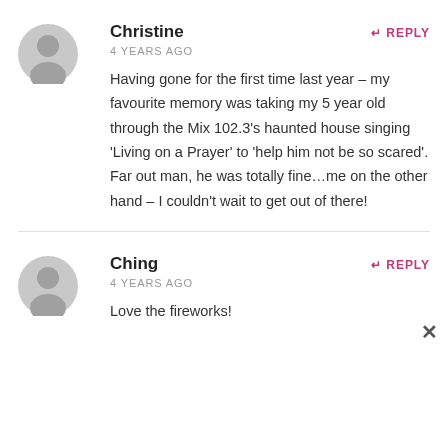Christine
4 YEARS AGO
REPLY
Having gone for the first time last year – my favourite memory was taking my 5 year old through the Mix 102.3's haunted house singing 'Living on a Prayer' to 'help him not be so scared'. Far out man, he was totally fine...me on the other hand – I couldn't wait to get out of there!
Ching
4 YEARS AGO
REPLY
Love the fireworks!